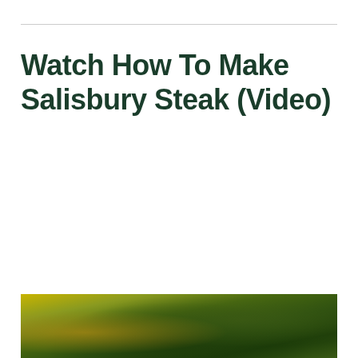Watch How To Make Salisbury Steak (Video)
[Figure (photo): Bottom portion of a food photo showing a Salisbury steak dish with green herbs/garnish and golden-brown tones, partially visible at the bottom of the page]